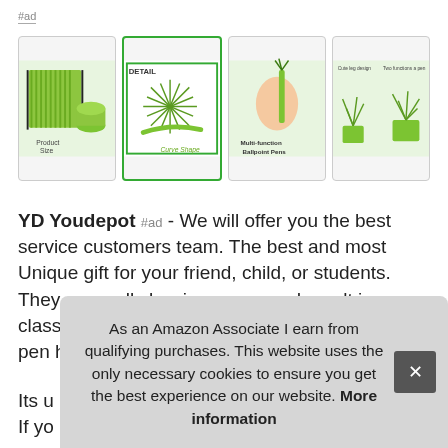#ad
[Figure (photo): Four product images showing green grass ballpoint pens: 1) Product size display, 2) Detail showing curve shape, 3) Multi-function Ballpoint Pens held in hand, 4) Two functions pen with holder]
YD Youdepot #ad - We will offer you the best service customers team. The best and most Unique gift for your friend, child, or students. They are really luscious pens and result in a very classy, thin liquid lineGreen Grass 25pcsAnd the pen holder.
Its u
If yo
us a
cus
As an Amazon Associate I earn from qualifying purchases. This website uses the only necessary cookies to ensure you get the best experience on our website. More information